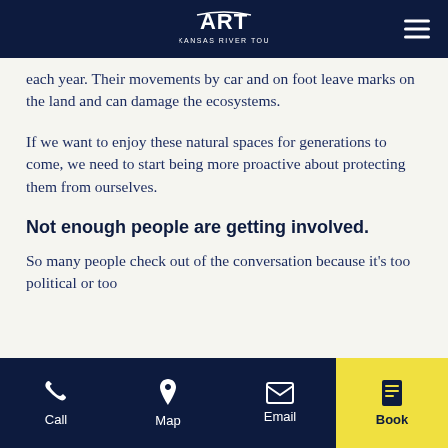Arkansas River Tours - Navigation Header
each year. Their movements by car and on foot leave marks on the land and can damage the ecosystems.
If we want to enjoy these natural spaces for generations to come, we need to start being more proactive about protecting them from ourselves.
Not enough people are getting involved.
So many people check out of the conversation because it's too political or too
Call | Map | Email | Book